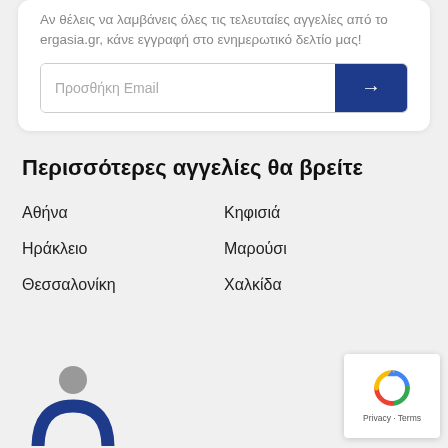Αν θέλεις να λαμβάνεις όλες τις τελευταίες αγγελίες από το ergasia.gr, κάνε εγγραφή στο ενημερωτικό δελτίο μας!
[Figure (screenshot): Email subscription input field with a dark blue arrow button]
Περισσότερες αγγελίες θα βρείτε
Αθήνα
Κηφισιά
Ηράκλειο
Μαρούσι
Θεσσαλονίκη
Χαλκίδα
[Figure (logo): ergasia.gr logo — stylized person figure in blue and grey]
[Figure (other): reCAPTCHA badge with Privacy and Terms links]